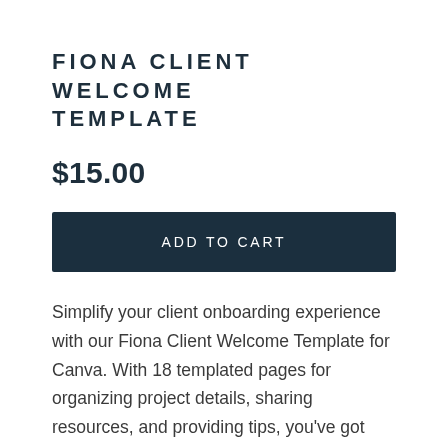FIONA CLIENT WELCOME TEMPLATE
$15.00
ADD TO CART
Simplify your client onboarding experience with our Fiona Client Welcome Template for Canva. With 18 templated pages for organizing project details, sharing resources, and providing tips, you've got everything you need to impress your clients and create bespoke experiences for them